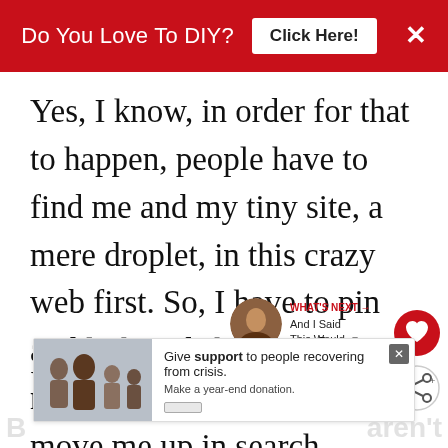Do You Love To DIY?  Click Here!  ×
Yes, I know, in order for that to happen, people have to find me and my tiny site, a mere droplet, in this crazy web first. So, I have to pin and link and share and play nice with Google so they move me up in search.
I get it.
[Figure (other): Floating heart (like) button — red circle with white heart icon]
[Figure (other): Floating share button — white circle with share icon]
[Figure (other): What's Next promo box with portrait thumbnail and text: And I Said This Would...]
[Figure (other): Bottom advertisement banner: Give support to people recovering from crisis. Make a year-end donation. Shows family photo on left.]